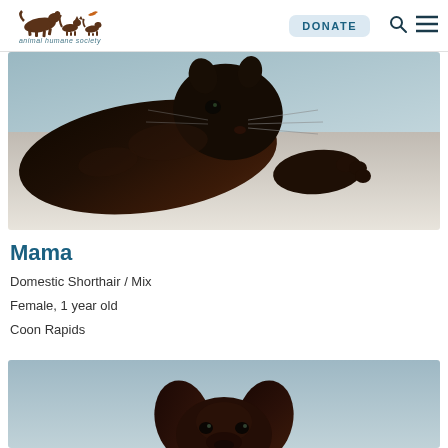animal humane society | DONATE
[Figure (photo): Dark brown/black domestic shorthair cat lying down on a white surface, viewed from the front/side, showing face and paw. Light blue/grey background.]
Mama
Domestic Shorthair / Mix
Female, 1 year old
Coon Rapids
[Figure (photo): Dark brown Labrador or similar dog, head visible from above, set against a light grey/blue background.]